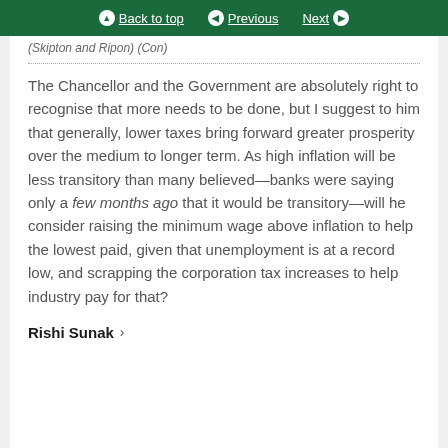Back to top | Previous | Next
(Skipton and Ripon) (Con)
The Chancellor and the Government are absolutely right to recognise that more needs to be done, but I suggest to him that generally, lower taxes bring forward greater prosperity over the medium to longer term. As high inflation will be less transitory than many believed—banks were saying only a few months ago that it would be transitory—will he consider raising the minimum wage above inflation to help the lowest paid, given that unemployment is at a record low, and scrapping the corporation tax increases to help industry pay for that?
Rishi Sunak